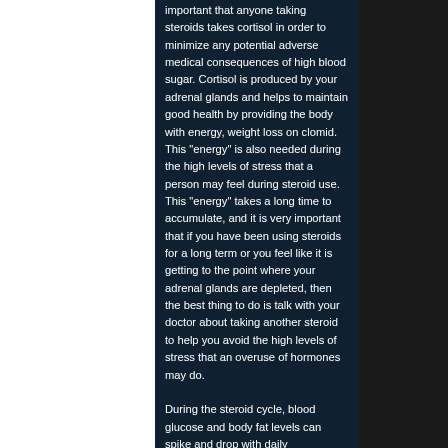important that anyone taking steroids takes cortisol in order to minimize any potential adverse medical consequences of high blood sugar. Cortisol is produced by your adrenal glands and helps to maintain good health by providing the body with energy, weight loss on clomid. This "energy" is also needed during the high levels of stress that a person may feel during steroid use. This "energy" takes a long time to accumulate, and it is very important that if you have been using steroids for a long term or you feel like it is getting to the point where your adrenal glands are depleted, then the best thing to do is talk with your doctor about taking another steroid to help you avoid the high levels of stress that an overuse of hormones may do.

During the steroid cycle, blood glucose and body fat levels can spike and drop with daily exercise and hormonal levels. At the same